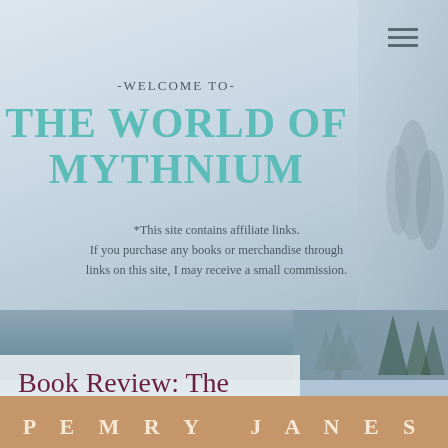-WELCOME TO-
THE WORLD OF MYTHNIUM
*This site contains affiliate links. If you purchase any books or merchandise through links on this site, I may receive a small commission.
Book Review: The Living Sword
[Figure (illustration): Book cover strip at bottom showing author name PEMRY JANES in decorative serif font on tan/brown background]
PEMRY JANES